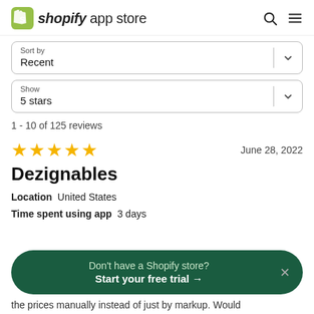shopify app store
Sort by
Recent
Show
5 stars
1 - 10 of 125 reviews
★★★★★  June 28, 2022
Dezignables
Location  United States
Time spent using app  3 days
Don't have a Shopify store?
Start your free trial →
the prices manually instead of just by markup. Would